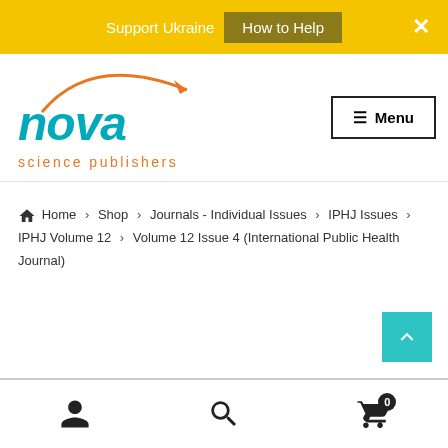Support Ukraine  How to Help  ×
[Figure (logo): Nova Science Publishers logo with teal 'nova' text, orange arrow arc, and orange 'science publishers' text beneath]
≡ Menu
🏠 Home › Shop › Journals - Individual Issues › IPHJ Issues › IPHJ Volume 12 › Volume 12 Issue 4 (International Public Health Journal)
[Figure (other): Teal scroll-to-top button with upward chevron arrow]
User icon | Search icon | Cart icon (0)